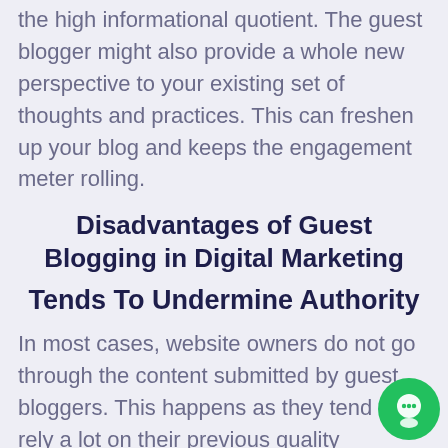the high informational quotient. The guest blogger might also provide a whole new perspective to your existing set of thoughts and practices. This can freshen up your blog and keeps the engagement meter rolling.
Disadvantages of Guest Blogging in Digital Marketing
Tends To Undermine Authority
In most cases, website owners do not go through the content submitted by guest bloggers. This happens as they tend to rely a lot on their previous quality